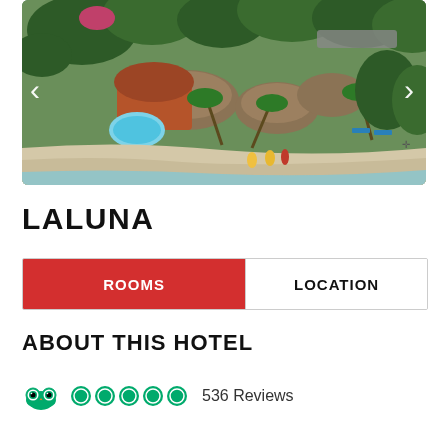[Figure (photo): Aerial view of Laluna hotel resort on a tropical beach, showing thatched-roof bungalows, a swimming pool, lush green trees, and sandy beach with turquoise water. Navigation arrows on left and right sides.]
LALUNA
| ROOMS | LOCATION |
| --- | --- |
ABOUT THIS HOTEL
536 Reviews